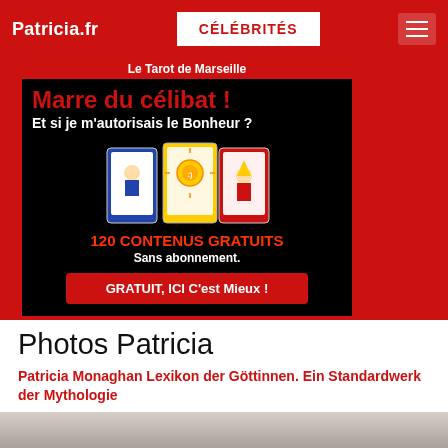Patricia.fr | CÉLÉBRITÉS | [menu icon]
[Figure (infographic): Advertisement banner for Le Tarot de Marseille: black background with text 'Marre du célibat! Et si je m'autorisais le Bonheur?' in red and white, tarot card illustrations, '120 CONTENUS GRATUITS Sans abonnement.' text, and red button 'GRATUIT, ICI C'est Mieux!']
Photos Patricia
Patricia Monaghan Lexikon der Göttinnen. Ein Standardwerk der Mythologie
10 EUR
[Figure (photo): Partial photo of a person visible at the bottom of the page]